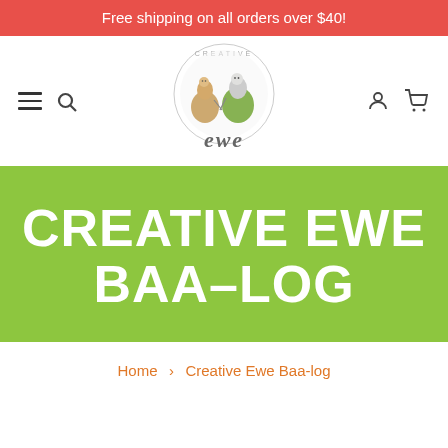Free shipping on all orders over $40!
[Figure (logo): Creative Ewe logo: circular illustration with two alpaca characters in knitted sweaters and text 'ewe' in handwritten style]
CREATIVE EWE BAA-LOG
Home › Creative Ewe Baa-log